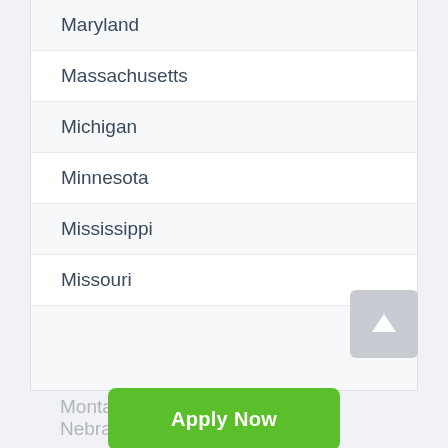Maryland
Massachusetts
Michigan
Minnesota
Mississippi
Missouri
Montana
Nebraska
Apply Now
Applying does NOT affect your credit score! No credit check to apply.